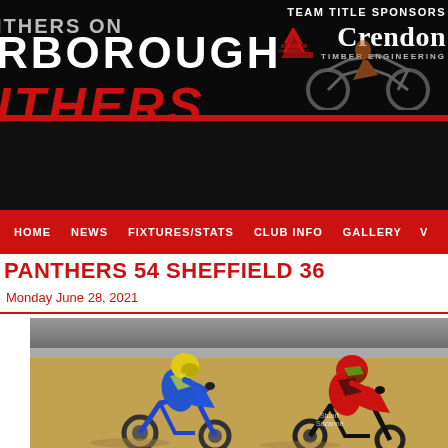[Figure (screenshot): Website header banner for Peterborough Panthers speedway team with black background, red text showing 'RBOROUGH' and 'PANTHERS' in large stylized font, Crendon Timber Engineering sponsor logo with Adidas symbol, and 'TEAM TITLE SPONSORS' text]
HOME   NEWS   FIXTURES/STATS   CLUB INFO   GALLERY   V
PANTHERS 54 SHEFFIELD 36
Monday June 28, 2021
[Figure (photo): Speedway race photo showing two riders on motorcycles - one in blue and yellow gear with yellow helmet, another in red and black gear with red helmet - racing on a dirt track]